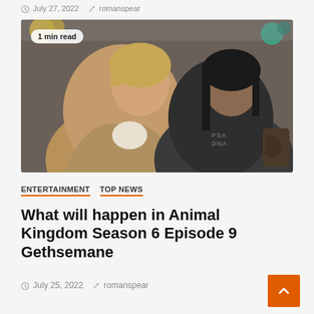July 27, 2022  romanspear
[Figure (photo): Two men standing side by side outdoors. Left man wears a tan/khaki jacket over a white shirt. Right man wears a dark sleeveless shirt with 'PSA DNA' text and has long dark hair and tattoos. Colorful decorations visible in background.]
1 min read
ENTERTAINMENT  TOP NEWS
What will happen in Animal Kingdom Season 6 Episode 9 Gethsemane
July 25, 2022  romanspear